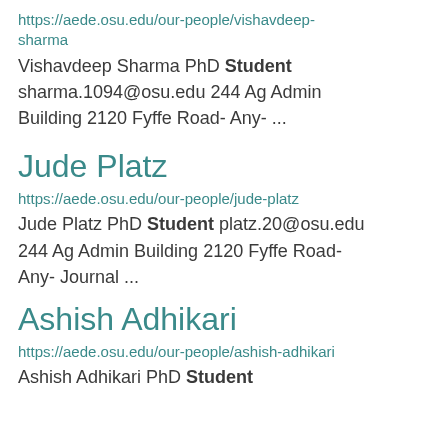https://aede.osu.edu/our-people/vishavdeep-sharma
Vishavdeep Sharma PhD Student sharma.1094@osu.edu 244 Ag Admin Building 2120 Fyffe Road- Any- ...
Jude Platz
https://aede.osu.edu/our-people/jude-platz
Jude Platz PhD Student platz.20@osu.edu 244 Ag Admin Building 2120 Fyffe Road- Any- Journal ...
Ashish Adhikari
https://aede.osu.edu/our-people/ashish-adhikari
Ashish Adhikari PhD Student